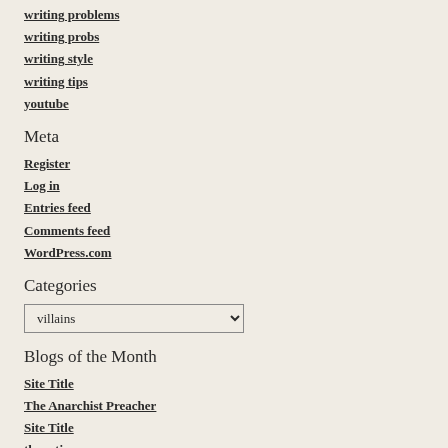writing problems
writing probs
writing style
writing tips
youtube
Meta
Register
Log in
Entries feed
Comments feed
WordPress.com
Categories
villains (dropdown)
Blogs of the Month
Site Title
The Anarchist Preacher
Site Title
theantiramen